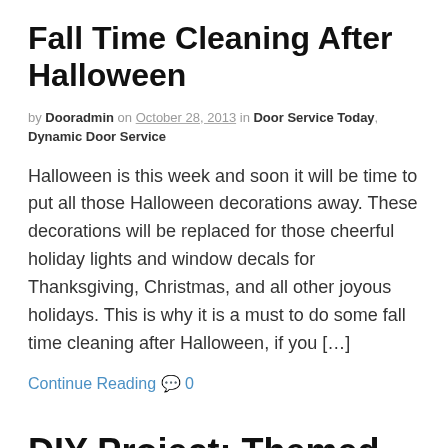Fall Time Cleaning After Halloween
by Dooradmin on October 28, 2013 in Door Service Today, Dynamic Door Service
Halloween is this week and soon it will be time to put all those Halloween decorations away. These decorations will be replaced for those cheerful holiday lights and window decals for Thanksgiving, Christmas, and all other joyous holidays. This is why it is a must to do some fall time cleaning after Halloween, if you […]
Continue Reading 💬 0
DIY Project: Themed Man Cave